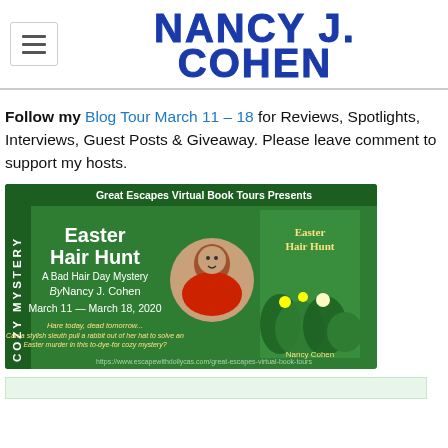Nancy J. Cohen
Follow my Blog Tour March 11 – 18 for Reviews, Spotlights, Interviews, Guest Posts & Giveaway. Please leave comments to support my hosts.
[Figure (illustration): Great Escapes Virtual Book Tours banner for Easter Hair Hunt: A Bad Hair Day Mystery by Nancy J. Cohen, March 11 — March 18, 2020. Green background with author photo and book cover. Tagline: Hare today, dead tomorrow... Can a stylish sleuth pull a rabbit out of her hat to solve an Easter murder in this to-dye-for cozy mystery?]